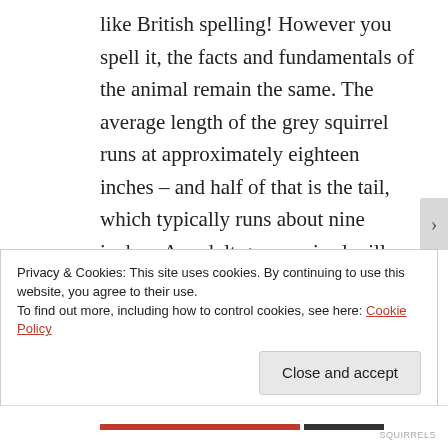like British spelling! However you spell it, the facts and fundamentals of the animal remain the same. The average length of the grey squirrel runs at approximately eighteen inches – and half of that is the tail, which typically runs about nine inches. An adult grey squirrel will generally weigh between one and
Privacy & Cookies: This site uses cookies. By continuing to use this website, you agree to their use.
To find out more, including how to control cookies, see here: Cookie Policy